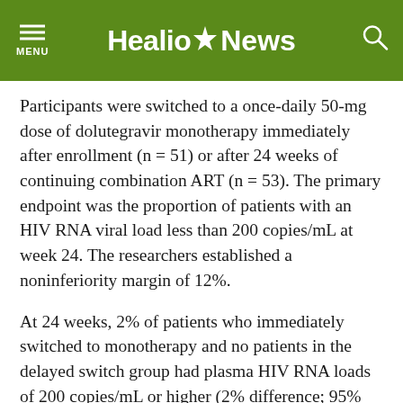Healio News
Participants were switched to a once-daily 50-mg dose of dolutegravir monotherapy immediately after enrollment (n = 51) or after 24 weeks of continuing combination ART (n = 53). The primary endpoint was the proportion of patients with an HIV RNA viral load less than 200 copies/mL at week 24. The researchers established a noninferiority margin of 12%.
At 24 weeks, 2% of patients who immediately switched to monotherapy and no patients in the delayed switch group had plasma HIV RNA loads of 200 copies/mL or higher (2% difference; 95% CI, −5 to 12). By week 48, 8% of the 95 patients who